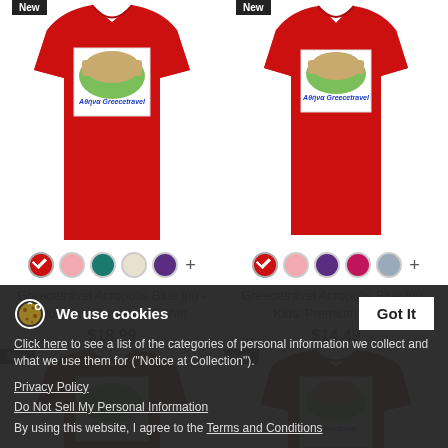[Figure (photo): Red women's premium t-shirt with Greecetravel Acropolis Blue jpg design, color swatches below]
[Figure (photo): Red kids' premium t-shirt with Greecetravel Acropolis Blue jpg design, color swatches below]
Greecetravel Acropolis Blue jpg - Women's Premium T-Shirt
$18.99
Greecetravel Acropolis Blue jpg - Kids' Premium T-Shirt
$14.49
We use cookies
Click here to see a list of the categories of personal information we collect and what we use them for ("Notice at Collection").
Privacy Policy
Do Not Sell My Personal Information
By using this website, I agree to the Terms and Conditions
[Figure (photo): Dark red/maroon t-shirt back view, New badge, partially obscured by cookie banner]
[Figure (photo): Dark red/maroon t-shirt with Acropolis design, New badge, partially obscured by cookie banner]